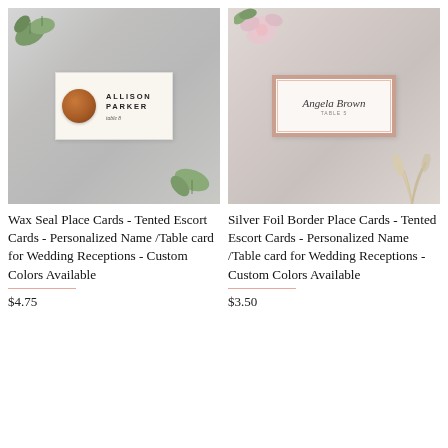[Figure (photo): Wax seal place card with name ALLISON PARKER table 8 on marble background with green leaves]
[Figure (photo): Rose gold foil border tented place card with script name Angela Brown on marble background with pink flowers]
Wax Seal Place Cards - Tented Escort Cards - Personalized Name /Table card for Wedding Receptions - Custom Colors Available
Silver Foil Border Place Cards - Tented Escort Cards - Personalized Name /Table card for Wedding Receptions - Custom Colors Available
$4.75
$3.50